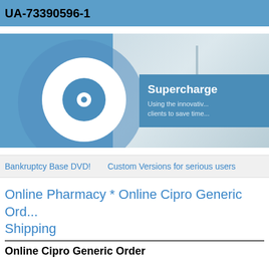UA-73390596-1
[Figure (screenshot): Blue banner with a white circle containing a CD/DVD icon on the left, pharmacy/medical office photo on the right, and a blue overlay box with text 'Supercharge' and 'Using the innovative... clients to save time...']
Bankruptcy Base DVD!   Custom Versions for serious users
Online Pharmacy * Online Cipro Generic Order Shipping
Online Cipro Generic Order